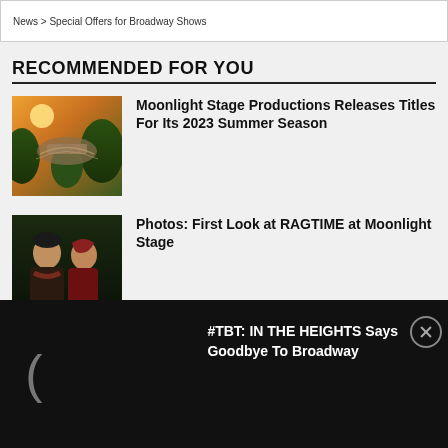News > Special Offers for Broadway Shows
RECOMMENDED FOR YOU
[Figure (photo): Aerial view of an outdoor amphitheater at sunset surrounded by trees and greenery]
Moonlight Stage Productions Releases Titles For Its 2023 Summer Season
[Figure (photo): Two performers in dark winter clothing looking upward dramatically, from the musical RAGTIME at Moonlight Stage]
Photos: First Look at RAGTIME at Moonlight Stage
#TBT: IN THE HEIGHTS Says Goodbye To Broadway